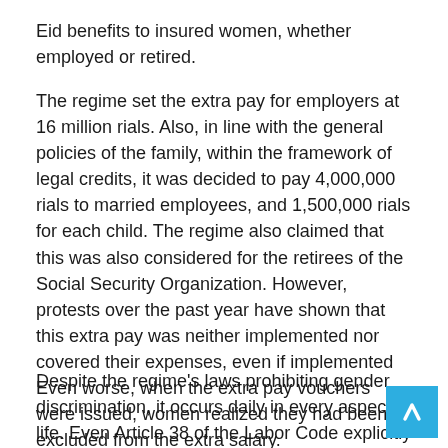Eid benefits to insured women, whether employed or retired.
The regime set the extra pay for employers at 16 million rials. Also, in line with the general policies of the family, within the framework of legal credits, it was decided to pay 4,000,000 rials to married employees, and 1,500,000 rials for each child. The regime also claimed that this was also considered for the retirees of the Social Security Organization. However, protests over the past year have shown that this extra pay was neither implemented nor covered their expenses, even if implemented Even worse, when the extra pay vouchers were issued, women realized they had been excluded from the extra salary.
Despite the regime's laws prohibiting gender discrimination, it occurs daily in every aspect of life. Even Article 38 of the Labor Code explicitly prohibits gender discrimination in wages. It reads, “For equal work done under equal conditions in a